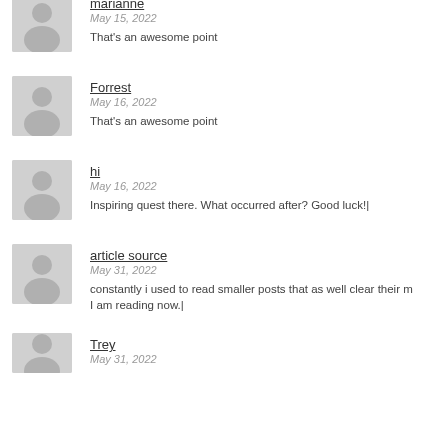marianne / May 15, 2022 / That’s an awesome point
Forrest / May 16, 2022 / That’s an awesome point
hi / May 16, 2022 / Inspiring quest there. What occurred after? Good luck!|
article source / May 31, 2022 / constantly i used to read smaller posts that as well clear their m... I am reading now.|
Trey / May 31, 2022